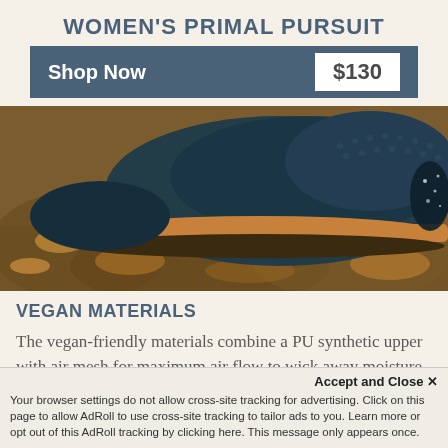WOMEN'S PRIMAL PURSUIT
Shop Now  $130
[Figure (photo): Close-up photo of a dark blue/navy trail shoe with tan/brown rubber sole resting on rocky ground]
VEGAN MATERIALS
The vegan-friendly materials combine a PU synthetic upper with air mesh for maximum air flow to wick away moisture and keep
Accept and Close ✕
Your browser settings do not allow cross-site tracking for advertising. Click on this page to allow AdRoll to use cross-site tracking to tailor ads to you. Learn more or opt out of this AdRoll tracking by clicking here. This message only appears once.